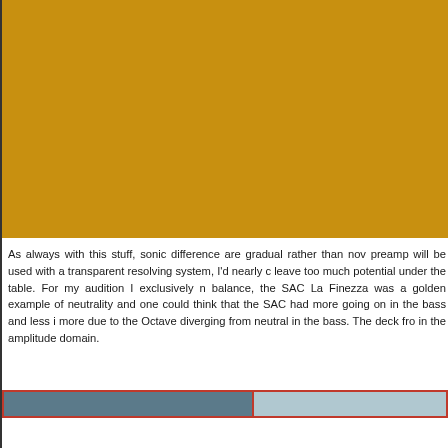[Figure (photo): Large golden/amber colored rectangular image occupying the top portion of the page]
As always with this stuff, sonic difference are gradual rather than now preamp will be used with a transparent resolving system, I'd nearly c leave too much potential under the table. For my audition I exclusively n balance, the SAC La Finezza was a golden example of neutrality and one could think that the SAC had more going on in the bass and less i more due to the Octave diverging from neutral in the bass. The deck fro in the amplitude domain.
[Figure (photo): Horizontal bar at bottom showing a dark blue-grey section on the left and a lighter blue-grey section on the right, with a red border/frame]